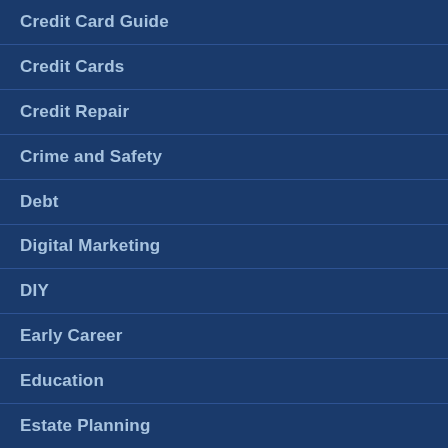Credit Card Guide
Credit Cards
Credit Repair
Crime and Safety
Debt
Digital Marketing
DIY
Early Career
Education
Estate Planning